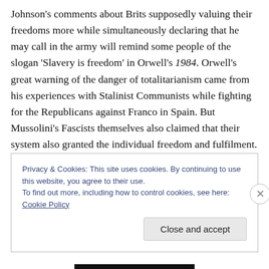Johnson's comments about Brits supposedly valuing their freedoms more while simultaneously declaring that he may call in the army will remind some people of the slogan 'Slavery is freedom' in Orwell's 1984. Orwell's great warning of the danger of totalitarianism came from his experiences with Stalinist Communists while fighting for the Republicans against Franco in Spain. But Mussolini's Fascists themselves also claimed that their system also granted the individual freedom and fulfilment.
Privacy & Cookies: This site uses cookies. By continuing to use this website, you agree to their use.
To find out more, including how to control cookies, see here: Cookie Policy
Close and accept